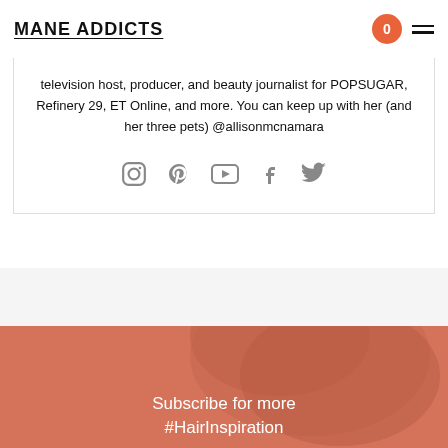MANE ADDICTS
television host, producer, and beauty journalist for POPSUGAR, Refinery 29, ET Online, and more. You can keep up with her (and her three pets) @allisonmcnamara
[Figure (infographic): Social media icons: Instagram, Pinterest, YouTube, Facebook, Twitter]
[Figure (photo): Subscribe for more #HairInspiration banner with coral/salmon background and hair photo overlay]